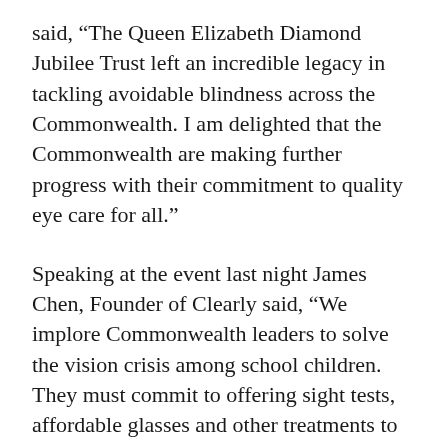said, “The Queen Elizabeth Diamond Jubilee Trust left an incredible legacy in tackling avoidable blindness across the Commonwealth. I am delighted that the Commonwealth are making further progress with their commitment to quality eye care for all.”
Speaking at the event last night James Chen, Founder of Clearly said, “We implore Commonwealth leaders to solve the vision crisis among school children. They must commit to offering sight tests, affordable glasses and other treatments to every schoolchild in the Commonwealth, giving them the best possible start in life.”
Professor Agnes Binagwaho, Vice Chancellor of the University of Global Health Equity, said,